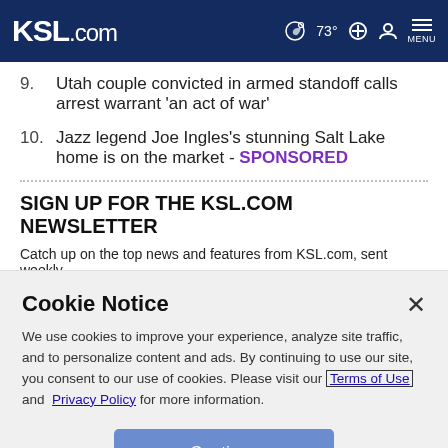KSL.com | 73° MENU
9. Utah couple convicted in armed standoff calls arrest warrant 'an act of war'
10. Jazz legend Joe Ingles's stunning Salt Lake home is on the market - SPONSORED
SIGN UP FOR THE KSL.COM NEWSLETTER
Catch up on the top news and features from KSL.com, sent weekly.
Cookie Notice
We use cookies to improve your experience, analyze site traffic, and to personalize content and ads. By continuing to use our site, you consent to our use of cookies. Please visit our Terms of Use and Privacy Policy for more information.
Continue